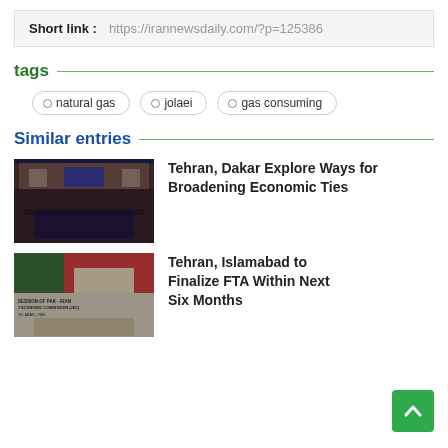Short link : https://irannewsdaily.com/?p=125386
tags
natural gas
jolaei
gas consuming
Similar entries
[Figure (photo): Meeting room with officials seated around a large conference table, flags visible, conference setting with portraits on wall]
Tehran, Dakar Explore Ways for Broadening Economic Ties
[Figure (photo): Press conference with banner reading SESSION OF PAK - IRAN ECONOMIC COMMISSION (JEC), ISLAMABAD - PAK, officials seated at table]
Tehran, Islamabad to Finalize FTA Within Next Six Months